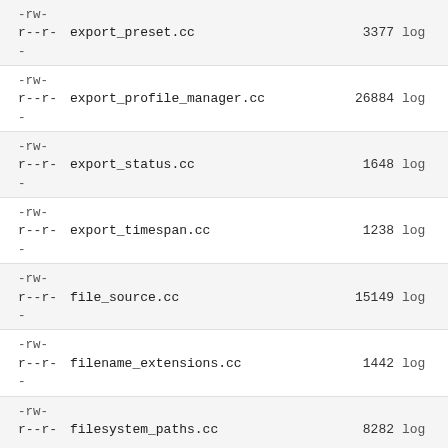-rw-r--r-  export_preset.cc  3377  log
-rw-r--r-  export_profile_manager.cc  26884  log
-rw-r--r-  export_status.cc  1648  log
-rw-r--r-  export_timespan.cc  1238  log
-rw-r--r-  file_source.cc  15149  log
-rw-r--r-  filename_extensions.cc  1442  log
-rw-r--r-  filesystem_paths.cc  8282  log
-rw-r--r-  filter.cc  4826  log
-rw-r--r-  find_session.cc  6696  log
-rw-